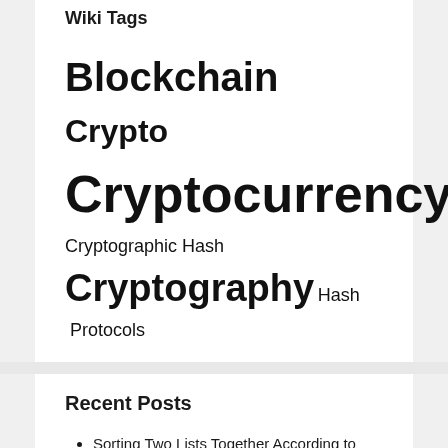Wiki Tags
Blockchain Crypto Cryptocurrency Cryptographic Hash Cryptography Hash Protocols
Recent Posts
Sorting Two Lists Together According to The Order of One List in Python
Synchronizing Thunderbird Calendar with Apple iCloud Calendar
SPF, DKIM and DMARC to Stop Email Sender Fraud: Intro and How to
Running Ephemeral Docker Containers – Automatically Remove a Docker Container After Running It